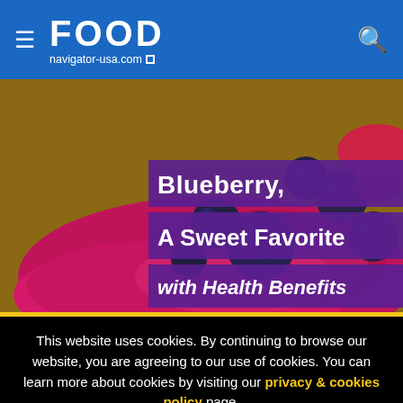FOOD navigator-usa.com
[Figure (photo): Photo of blueberries and magenta/pink powder on a wooden surface, with text overlay reading 'Blueberry, A Sweet Favorite with Health Benefits']
This website uses cookies. By continuing to browse our website, you are agreeing to our use of cookies. You can learn more about cookies by visiting our privacy & cookies policy page.
I Agree